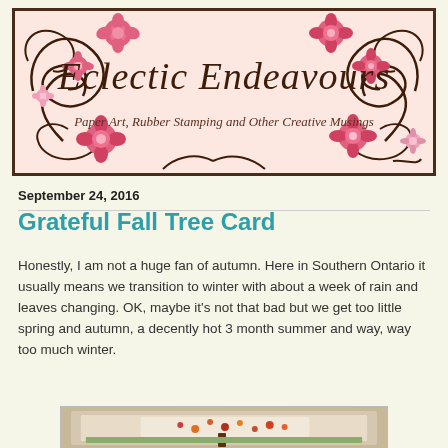[Figure (illustration): Blog header banner for 'Eclectic Endeavours' with pink floral decorations, brown swirling scrollwork on a pink/peach background. Script text reads 'Eclectic Endeavours' with subtitle 'Paper Art, Rubber Stamping and Other Creative Musings']
September 24, 2016
Grateful Fall Tree Card
Honestly, I am not a huge fan of autumn. Here in Southern Ontario it usually means we transition to winter with about a week of rain and leaves changing. OK, maybe it’s not that bad but we get too little spring and autumn, a decently hot 3 month summer and way, way too much winter.
[Figure (photo): Partial view of a handmade fall tree card on kraft/brown card stock background]